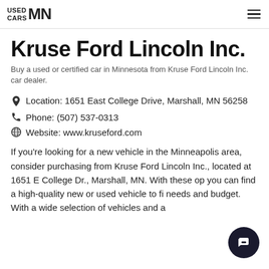USED CARS MN
Kruse Ford Lincoln Inc.
Buy a used or certified car in Minnesota from Kruse Ford Lincoln Inc. car dealer.
Location:  1651 East College Drive, Marshall, MN 56258
Phone:  (507) 537-0313
Website:  www.kruseford.com
If you're looking for a new vehicle in the Minneapolis area, consider purchasing from Kruse Ford Lincoln Inc., located at 1651 E College Dr., Marshall, MN. With these op you can find a high-quality new or used vehicle to fi needs and budget. With a wide selection of vehicles and a